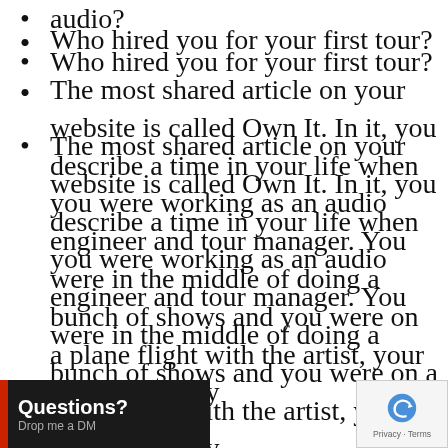audio?
Who hired you for your first tour?
The most shared article on your website is called Own It. In it, you describe a time in your life when you were working as an audio engineer and tour manager. You were in the middle of doing a bunch of shows and you were on a plane flight with the artist, your client. You guy[s were chat]ting and you were [discuss]ing a problem you were
[Figure (screenshot): Questions? Drop me a DM overlay bar at bottom left]
[Figure (logo): reCAPTCHA badge at bottom right with Privacy - Terms text]